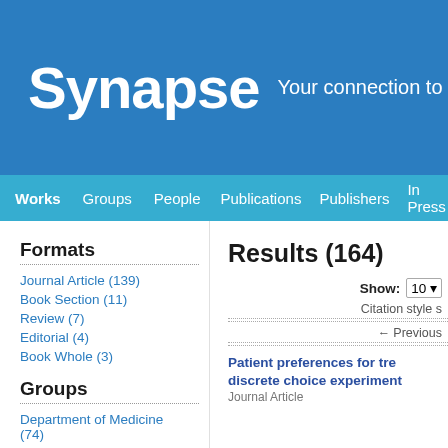Synapse Your connection to MSK
Works Groups People Publications Publishers In Press COVID-1
Formats
Journal Article (139)
Book Section (11)
Review (7)
Editorial (4)
Book Whole (3)
Groups
Department of Medicine (74)
Solid Tumor Oncology
Results (164)
Show: 10
Citation style s
← Previous
Patient preferences for trea discrete choice experiment
Journal Article